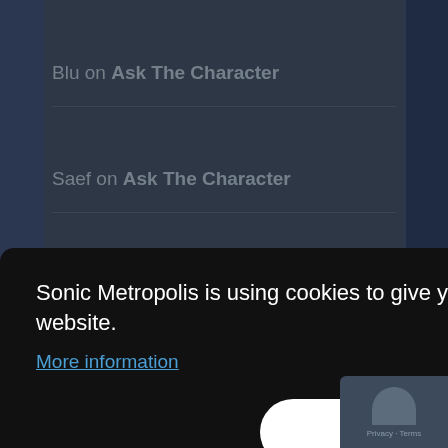Blu on Ask The Character
Saef on Ask The Character
Rocko on Ask The Character
Rocko on Ask The Character
Sonic Metropolis is using cookies to give you the best experience on our website.
More information
Accept
Privacy · Terms
Select Month